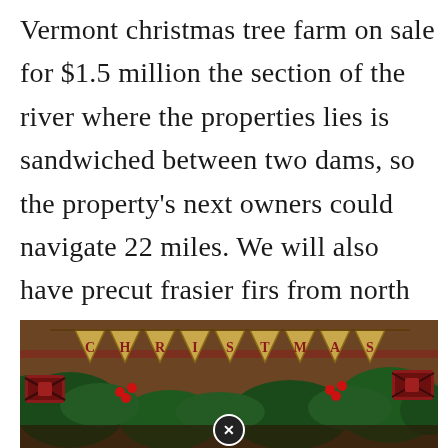Vermont christmas tree farm on sale for $1.5 million the section of the river where the properties lies is sandwiched between two dams, so the property's next owners could navigate 22 miles. We will also have precut frasier firs from north carolina, fresh cut in late november. Seasoned cord wood and excavation services available call for details!
[Figure (photo): Christmas decorative banner photo with burlap pennant flags spelling 'CHRISTMAS', surrounded by red and green holiday decorations including bows, holly, pine branches, and red plaid ribbons. A close/X button is visible at the bottom center.]